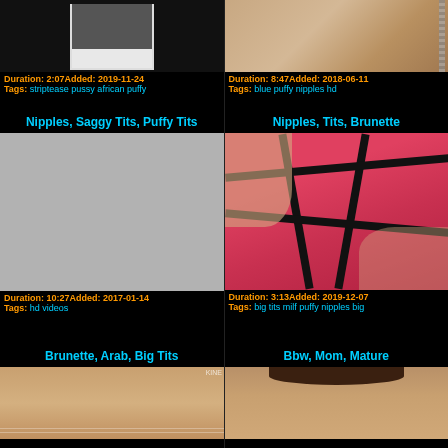[Figure (screenshot): Video thumbnail top-left showing person, dark background]
Duration: 2:07 Added: 2019-11-24
Tags: striptease pussy african puffy
[Figure (screenshot): Video thumbnail top-right showing feet]
Duration: 8:47 Added: 2018-06-11
Tags: blue puffy nipples hd
Nipples, Saggy Tits, Puffy Tits
Nipples, Tits, Brunette
[Figure (screenshot): Gray placeholder thumbnail]
Duration: 10:27 Added: 2017-01-14
Tags: hd videos
[Figure (screenshot): Video thumbnail showing pink/black lingerie closeup]
Duration: 3:13 Added: 2019-12-07
Tags: big tits milf puffy nipples big
Brunette, Arab, Big Tits
Bbw, Mom, Mature
[Figure (screenshot): Video thumbnail bottom-left partial]
[Figure (screenshot): Video thumbnail bottom-right partial]